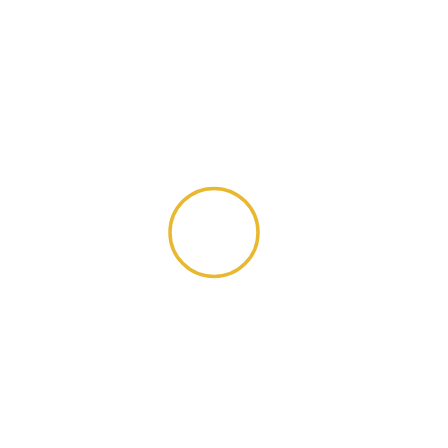[Figure (other): A simple circle outline drawn with a golden/amber yellow stroke on a white background, centered slightly left of center and slightly below center of the page.]